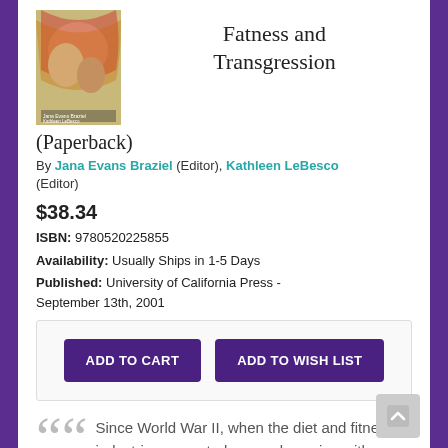[Figure (illustration): Book cover image for Fatness and Transgression with colorful illustrated artwork]
Fatness and Transgression
(Paperback)
By Jana Evans Braziel (Editor), Kathleen LeBesco (Editor)
$38.34
ISBN: 9780520225855
Availability: Usually Ships in 1-5 Days
Published: University of California Press - September 13th, 2001
ADD TO CART  ADD TO WISH LIST
Since World War II, when the diet and fitness industries promoted mass obsession with weight and body shape, fat